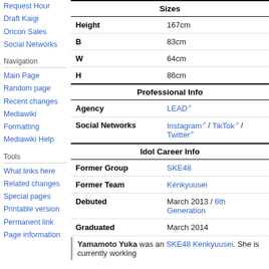Request Hour
Draft Kaigi
Oricon Sales
Social Networks
Navigation
Main Page
Random page
Recent changes
Mediawiki Formatting
Mediawiki Help
Tools
What links here
Related changes
Special pages
Printable version
Permanent link
Page information
|  | Sizes |  |
| --- | --- | --- |
| Height | 167cm |
| B | 83cm |
| W | 64cm |
| H | 86cm |
|  | Professional Info |  |
| Agency | LEAD ↗ |
| Social Networks | Instagram ↗ / TikTok ↗ / Twitter ↗ |
|  | Idol Career Info |  |
| Former Group | SKE48 |
| Former Team | Kenkyuusei |
| Debuted | March 2013 / 6th Generation |
| Graduated | March 2014 |
Yamamoto Yuka was an SKE48 Kenkyuusei. She is currently working